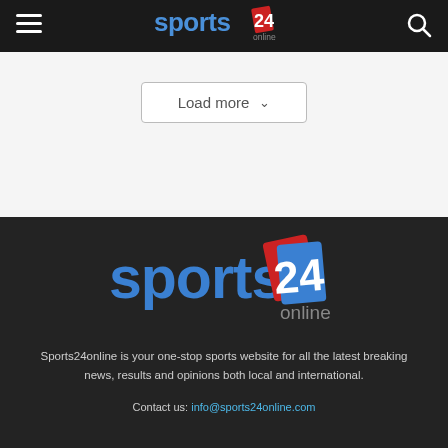Sports24online navigation bar with hamburger menu, logo, and search icon
[Figure (logo): Sports24online logo in header (white/blue/red on dark background)]
Load more
[Figure (logo): Sports24online logo in footer section (blue and red on dark background)]
Sports24online is your one-stop sports website for all the latest breaking news, results and opinions both local and international.
Contact us: info@sports24online.com